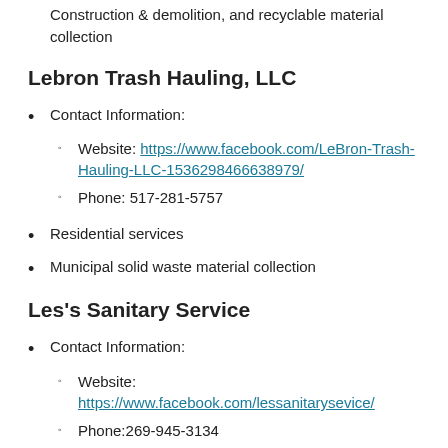Construction & demolition, and recyclable material collection
Lebron Trash Hauling, LLC
Contact Information:
Website: https://www.facebook.com/LeBron-Trash-Hauling-LLC-1536298466638979/
Phone: 517-281-5757
Residential services
Municipal solid waste material collection
Les's Sanitary Service
Contact Information:
Website: https://www.facebook.com/lessanitarysevice/
Phone:269-945-3134